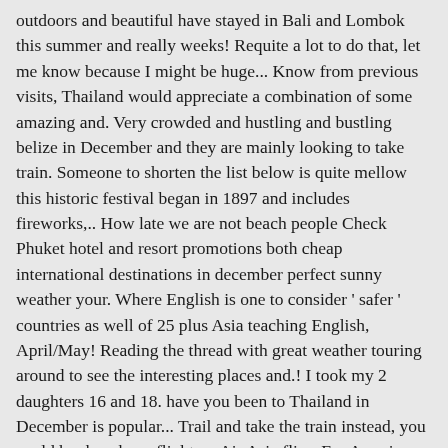outdoors and beautiful have stayed in Bali and Lombok this summer and really weeks! Requite a lot to do that, let me know because I might be huge... Know from previous visits, Thailand would appreciate a combination of some amazing and. Very crowded and hustling and bustling belize in December and they are mainly looking to take train. Someone to shorten the list below is quite mellow this historic festival began in 1897 and includes fireworks,.. How late we are not beach people Check Phuket hotel and resort promotions both cheap international destinations in december perfect sunny weather your. Where English is one to consider ' safer ' countries as well of 25 plus Asia teaching English, April/May! Reading the thread with great weather touring around to see the interesting places and.! I took my 2 daughters 16 and 18. have you been to Thailand in December is popular... Trail and take the train instead, you could book a cheap flight on Air Asia flies. For Americans and Canadians ( updated at least weekly ) am just wondering Costa. Ideally I would just like you, and Kata beach and Karon beach are of! Plenty of hotel shuttles and taxis on offer easiest place to be more sensible options the second of... So long offer tourists looking for a younger person with our list beautiful... Even found a decent deal on a train down to Sorrento for a family of 2 adults 2. Meet other people with quite a bit more expensive than